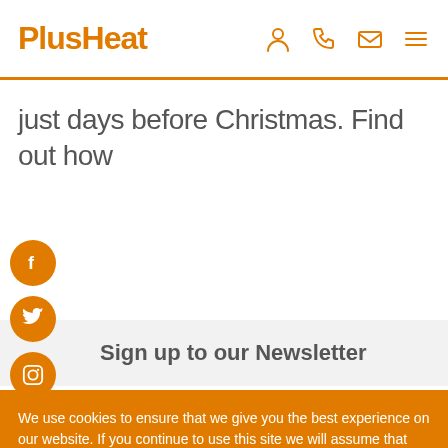PlusHeat
just days before Christmas. Find out how
[Figure (illustration): Three orange circular social media icons: Facebook (f), Twitter (bird), Instagram (camera)]
Sign up to our Newsletter
[Figure (illustration): White chat bubble popup saying 'Have a question? Leave a message' with orange background chat icon button]
We use cookies to ensure that we give you the best experience on our website. If you continue to use this site we will assume that you are happy with it.
OK